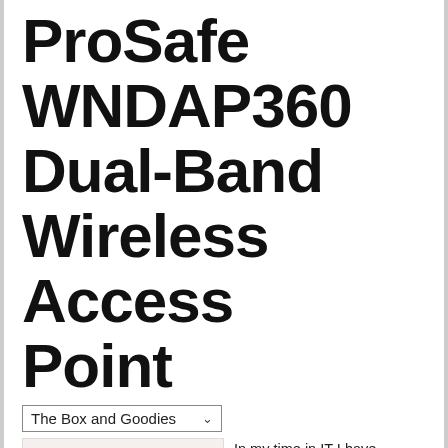ProSafe WNDAP360 Dual-Band Wireless Access Point
The Box and Goodies
[Figure (photo): Close-up photo of the ProSafe WNDAP360 wireless access point device, showing LED indicators and antennas on a light background.]
In my time in IT I have worked with a number of wireless devices for the consumer and for businesses. These have ranged everywhere from simple $40 products that are only meant to get you online (not fast, but online) to multi-component wireless systems costing thousands of dollars. All of these still use